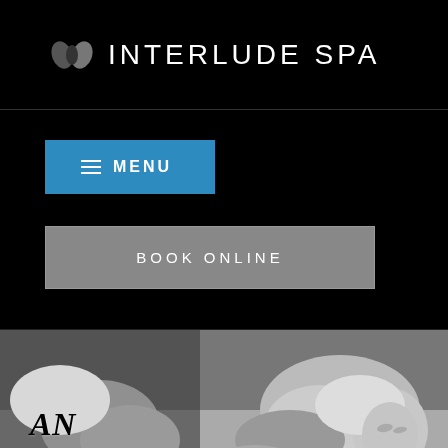INTERLUDE SPA
MENU
BOOK ONLINE
[Figure (photo): Black and white photo of a man receiving a neck/shoulder massage from a therapist in white uniform]
AN INTERLUDE FOR MEN